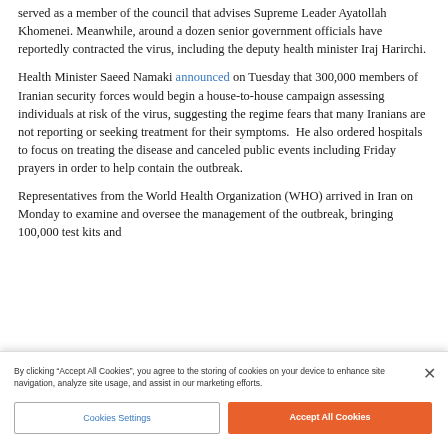served as a member of the council that advises Supreme Leader Ayatollah Khomenei. Meanwhile, around a dozen senior government officials have reportedly contracted the virus, including the deputy health minister Iraj Harirchi.
Health Minister Saeed Namaki announced on Tuesday that 300,000 members of Iranian security forces would begin a house-to-house campaign assessing individuals at risk of the virus, suggesting the regime fears that many Iranians are not reporting or seeking treatment for their symptoms.  He also ordered hospitals to focus on treating the disease and canceled public events including Friday prayers in order to help contain the outbreak.
Representatives from the World Health Organization (WHO) arrived in Iran on Monday to examine and oversee the management of the outbreak, bringing 100,000 test kits and
By clicking "Accept All Cookies", you agree to the storing of cookies on your device to enhance site navigation, analyze site usage, and assist in our marketing efforts.
Cookies Settings
Accept All Cookies